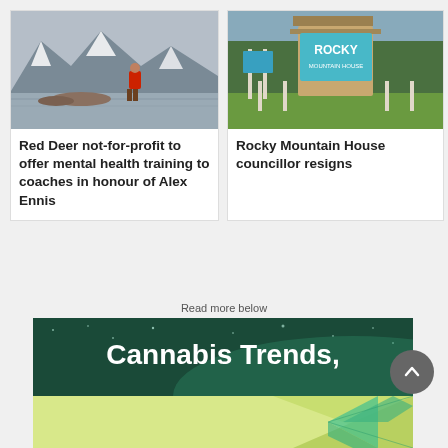[Figure (photo): Person in red jacket standing by a mountain lake with snow-capped mountains in background]
Red Deer not-for-profit to offer mental health training to coaches in honour of Alex Ennis
[Figure (photo): Rocky Mountain House sign on a wooden tower with green trees in background]
Rocky Mountain House councillor resigns
Read more below
[Figure (photo): Advertisement banner with dark green starry sky background and white text reading Cannabis Trends,]
[Figure (photo): Advertisement banner with yellow-green background and geometric teal/green triangular design]